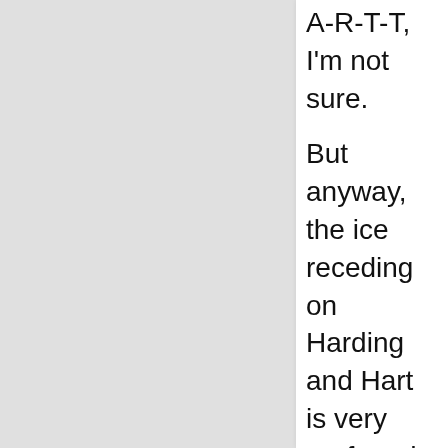A-R-T-T, I'm not sure.
But anyway, the ice receding on Harding and Hart is very profound. You can see all the way to the peak of Harding now, and there's no glacier ice there. It's gone.
KAREN BREWSTER: And when you were a kid, it was all covered? STAN SELMER: It was glacier